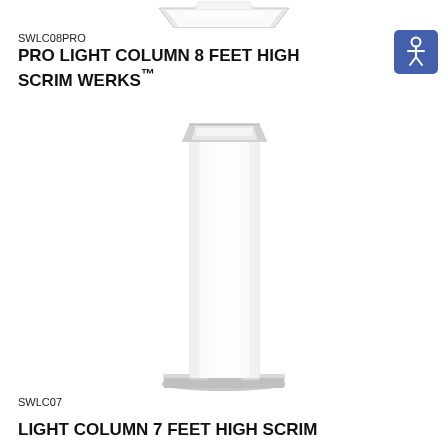[Figure (photo): Partial top view of a light product, cropped at top edge of page]
[Figure (illustration): Blue square accessibility icon with white person/circle symbol]
SWLC08PRO
PRO LIGHT COLUMN 8 FEET HIGH SCRIM WERKS™
[Figure (photo): Light column product: tall rectangular white illuminated column with silver/brushed metal top cap and square base plate, standing vertically on white background]
SWLC07
LIGHT COLUMN 7 FEET HIGH SCRIM